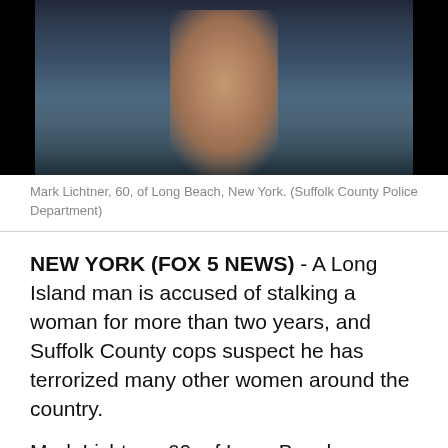[Figure (photo): Mugshot photo of Mark Lichtner, 60, of Long Beach, New York, against a dark background. The man is wearing a dark t-shirt.]
Mark Lichtner, 60, of Long Beach, New York. (Suffolk County Police Department)
NEW YORK (FOX 5 NEWS) - A Long Island man is accused of stalking a woman for more than two years, and Suffolk County cops suspect he has terrorized many other women around the country.
Mark Lichtner, 60, of Long Beach, repeatedly called a 22-year-old woman from Amity Harbor from a blocked number, police said. During the calls, he made sexual comments and provided such specific details about her daily activities that she believed he might have been following her, authorities said.